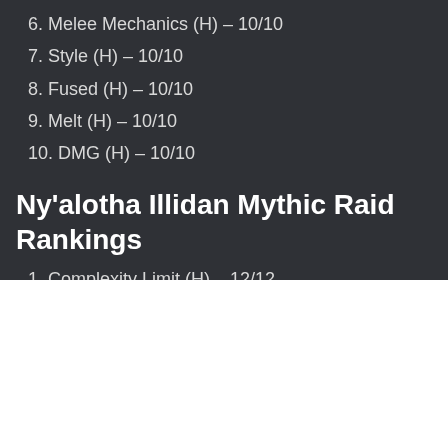6. Melee Mechanics (H) – 10/10
7. Style (H) – 10/10
8. Fused (H) – 10/10
9. Melt (H) – 10/10
10. DMG (H) – 10/10
Ny'alotha Illidan Mythic Raid Rankings
1. Complexity Limit (H) – 12/12
2. BDGG (H) – 12/12